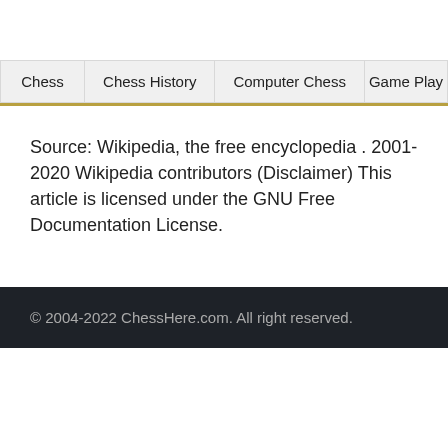Chess | Chess History | Computer Chess | Game Play
Source: Wikipedia, the free encyclopedia . 2001-2020 Wikipedia contributors (Disclaimer) This article is licensed under the GNU Free Documentation License.
© 2004-2022 ChessHere.com. All right reserved.